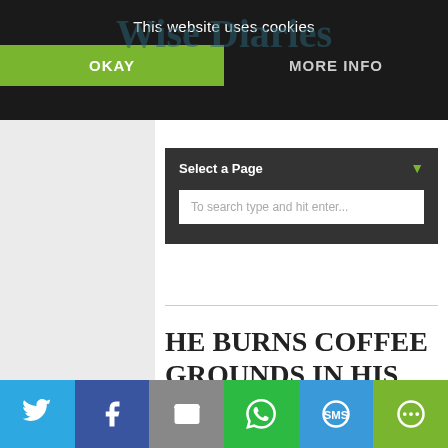This website uses cookies
OKAY
MORE INFO
Select a Page
To search type and hit enter...
HE BURNS COFFEE GROUNDS IN HIS BACKYARD. THE REASON? GENIUS!
They can turn the most relaxed of backyard b...
Social share buttons: Twitter, Facebook, Email, WhatsApp, SMS, More